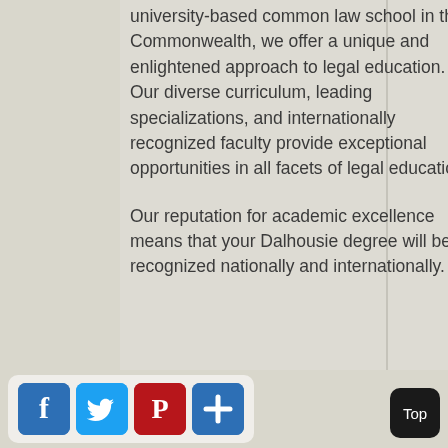university-based common law school in the Commonwealth, we offer a unique and enlightened approach to legal education. Our diverse curriculum, leading specializations, and internationally recognized faculty provide exceptional opportunities in all facets of legal education.
Our reputation for academic excellence means that your Dalhousie degree will be recognized nationally and internationally.
[Figure (other): Social sharing buttons: Facebook (blue), Twitter (light blue), Pinterest (red), Add/share (blue), and a black 'Top' button in the bottom right corner]